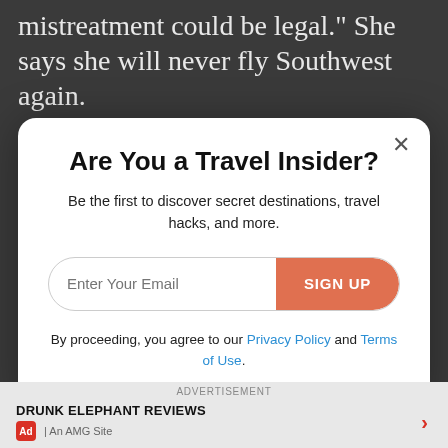mistreatment could be legal." She says she will never fly Southwest again.
Are You a Travel Insider?
Be the first to discover secret destinations, travel hacks, and more.
By proceeding, you agree to our Privacy Policy and Terms of Use.
were over-crowded, as Southwest is the ‘official’ airline of the Essence music festival
ADVERTISEMENT
DRUNK ELEPHANT REVIEWS
Ad | An AMG Site